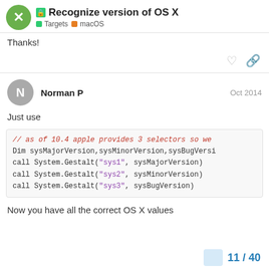🔒 Recognize version of OS X — Targets | macOS
Thanks!
Norman P  Oct 2014
Just use
// as of 10.4 apple provides 3 selectors so we
Dim sysMajorVersion,sysMinorVersion,sysBugVersi
call System.Gestalt("sys1", sysMajorVersion)
call System.Gestalt("sys2", sysMinorVersion)
call System.Gestalt("sys3", sysBugVersion)
Now you have all the correct OS X values
11 / 40